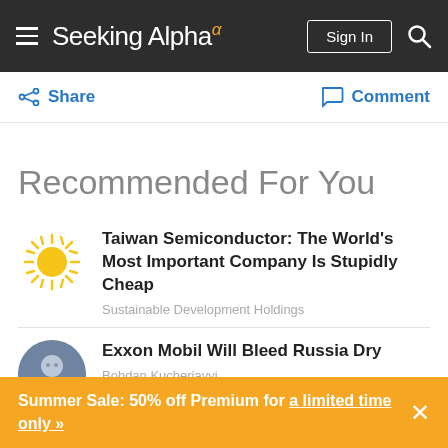Seeking Alpha
Share   Comment
Recommended For You
Taiwan Semiconductor: The World's Most Important Company Is Stupidly Cheap
Sustainable Development Holdings
Exxon Mobil Will Bleed Russia Dry
Bohdan Kucheriavyi
Summer Sale: 50% off Premium for a limited time only »